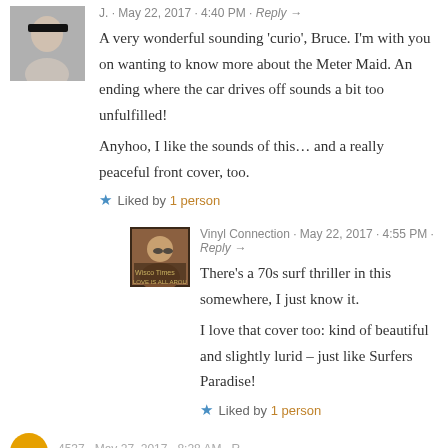J. · May 22, 2017 · 4:40 PM · Reply →
A very wonderful sounding 'curio', Bruce. I'm with you on wanting to know more about the Meter Maid. An ending where the car drives off sounds a bit too unfulfilled!
Anyhoo, I like the sounds of this… and a really peaceful front cover, too.
★ Liked by 1 person
Vinyl Connection · May 22, 2017 · 4:55 PM · Reply →
There's a 70s surf thriller in this somewhere, I just know it.
I love that cover too: kind of beautiful and slightly lurid – just like Surfers Paradise!
★ Liked by 1 person